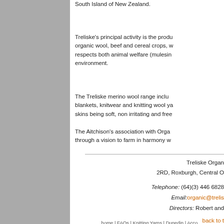South Island of New Zealand.
Treliske's principal activity is the production of organic wool, beef and cereal crops, with farming that respects both animal welfare (malesing free) and the environment.
The Treliske merino wool range includes: rugs, blankets, knitwear and knitting wool yarns, the merino skins being soft, non irritating and free of chemicals.
The Aitchison's association with Organic NZ began through a vision to farm in harmony with nature.
Treliske Organics,
2RD, Roxburgh, Central O
Telephone: (64)(3) 446 6828
Email: organic@trelis
Directors: Robert and
back to t
home | FAQs | Knitting Yarns | Dunedin | Acco